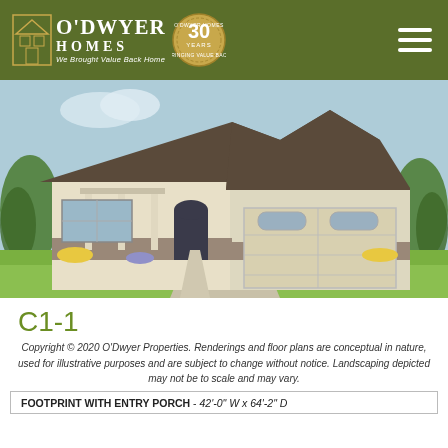O'Dwyer Homes – We Brought Value Back Home
[Figure (illustration): Architectural rendering of a craftsman-style single-family home with a dark shingle roof, gable dormer with window, front porch with columns, arched front door, two-car garage, stone base accents, and landscaping.]
C1-1
Copyright © 2020 O'Dwyer Properties. Renderings and floor plans are conceptual in nature, used for illustrative purposes and are subject to change without notice. Landscaping depicted may not be to scale and may vary.
| FOOTPRINT WITH ENTRY PORCH |
| --- |
| 42'-0" W x 64'-2" D |